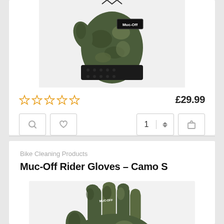[Figure (photo): Camo fingerless cycling glove showing the palm and wrist area with Muc-Off branding patch, black grip texture on wrist closure]
☆☆☆☆☆
£29.99
Bike Cleaning Products
Muc-Off Rider Gloves – Camo S
[Figure (photo): Camo full-finger cycling gloves showing fingers and back of hand in camouflage green/brown pattern with Muc-Off branding]